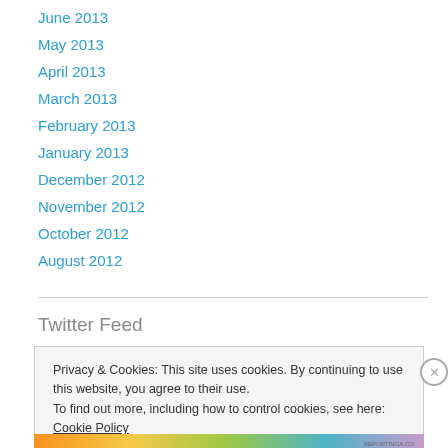June 2013
May 2013
April 2013
March 2013
February 2013
January 2013
December 2012
November 2012
October 2012
August 2012
Twitter Feed
Privacy & Cookies: This site uses cookies. By continuing to use this website, you agree to their use.
To find out more, including how to control cookies, see here: Cookie Policy
Close and accept